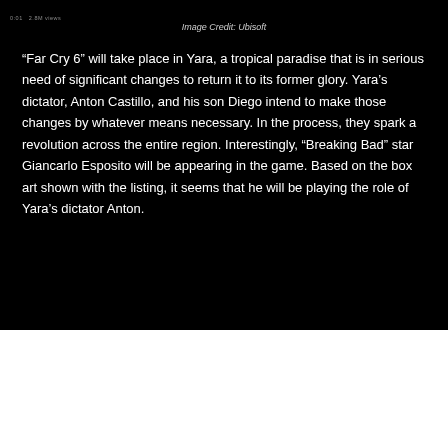Image Credit: Ubisoft
“Far Cry 6” will take place in Yara, a tropical paradise that is in serious need of significant changes to return it to its former glory. Yara’s dictator, Anton Castillo, and his son Diego intend to make those changes by whatever means necessary. In the process, they spark a revolution across the entire region. Interestingly, “Breaking Bad” star Giancarlo Esposito will be appearing in the game. Based on the box art shown with the listing, it seems that he will be playing the role of Yara’s dictator Anton.